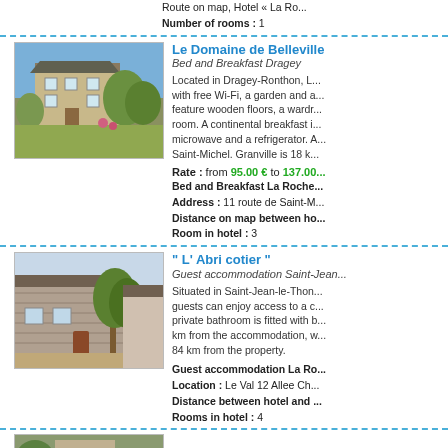Route on map, Hotel « La Ro... Number of rooms : 1
[Figure (photo): Top listing photo partially visible]
Le Domaine de Belleville
Bed and Breakfast Dragey
Located in Dragey-Ronthon, Le... with free Wi-Fi, a garden and a... feature wooden floors, a wardr... room. A continental breakfast i... microwave and a refrigerator. A... Saint-Michel. Granville is 18 k...
Rate : from 95.00 € to 137.00 € Bed and Breakfast La Roche... Address : 11 route de Saint-M... Distance on map between ho... Room in hotel : 3
[Figure (photo): Le Domaine de Belleville - stone farmhouse with garden]
" L' Abri cotier "
Guest accommodation Saint-Jean...
Situated in Saint-Jean-le-Thon... guests can enjoy access to a c... private bathroom is fitted with b... km from the accommodation, w... 84 km from the property.
Guest accommodation La Ro... Location : Le Val 12 Allee Ch... Distance between hotel and ... Rooms in hotel : 4
[Figure (photo): L'Abri cotier - stone building with tree]
[Figure (photo): Bottom listing photo partially visible]